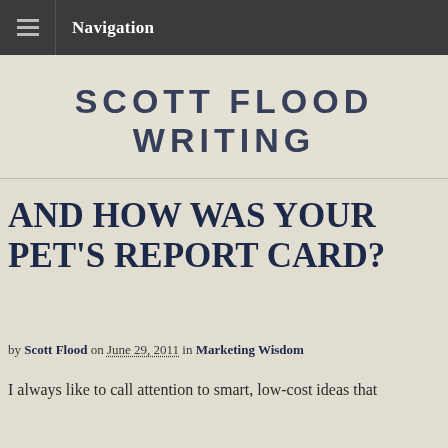Navigation
[Figure (logo): Scott Flood Writing logo in large bold uppercase serif/slab lettering, dark navy color on textured beige background]
AND HOW WAS YOUR PET'S REPORT CARD?
by Scott Flood on June 29, 2011 in Marketing Wisdom
I always like to call attention to smart, low-cost ideas that